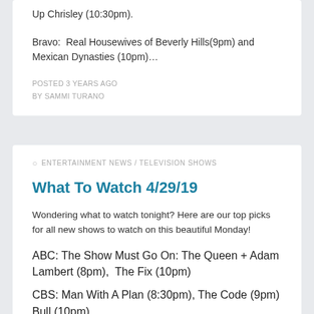Up Chrisley (10:30pm).
Bravo: Real Housewives of Beverly Hills(9pm) and Mexican Dynasties (10pm)…
POSTED 3 YEARS AGO
BY SAMMI TURANO
ENTERTAINMENT NEWS / TELEVISION SHOWS
What To Watch 4/29/19
Wondering what to watch tonight? Here are our top picks for all new shows to watch on this beautiful Monday!
ABC: The Show Must Go On: The Queen + Adam Lambert (8pm),  The Fix (10pm)
CBS: Man With A Plan (8:30pm), The Code (9pm) Bull (10pm)